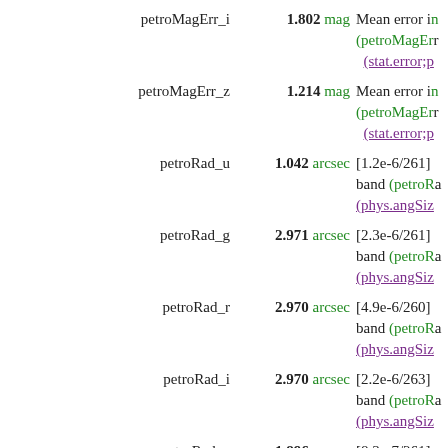petroMagErr_i   1.802 mag   Mean error in (petroMagErr (stat.error;p
petroMagErr_z   1.214 mag   Mean error in (petroMagErr (stat.error;p
petroRad_u   1.042 arcsec   [1.2e-6/261] band (petroR (phys.angSiz
petroRad_g   2.971 arcsec   [2.3e-6/261] band (petroR (phys.angSiz
petroRad_r   2.970 arcsec   [4.9e-6/260] band (petroR (phys.angSiz
petroRad_i   2.970 arcsec   [2.2e-6/263] band (petroR (phys.angSiz
petroRad_z   1.896 arcsec   [8.3e-7/261] band (petroR (phys.angSiz
petroRadErr_u   0.956 arcsec   [-1000/259] (petroRadErr